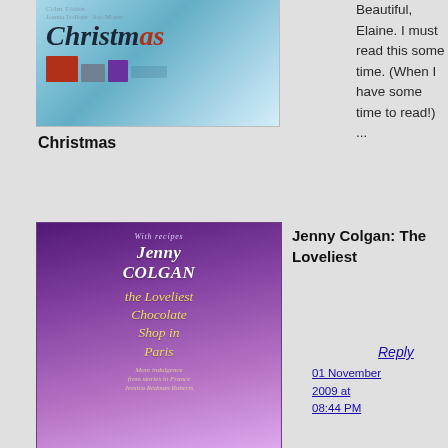[Figure (illustration): Book cover: Jenny Colgan Christmas - teal/blue winter coastal scene]
Christmas
[Figure (illustration): Book cover: Jenny Colgan - The Loveliest Chocolate Shop in Paris - purple decorative cover with Eiffel Tower]
Jenny Colgan: The Loveliest
Chocolate Shop in Paris
Beautiful, Elaine. I must read this some time. (When I have some time to read!) ...
Reply
01 November 2009 at 08:44 PM
[Figure (illustration): Book cover: Jenny Colgan - Summer at Little Beach Street Bakery - blue and yellow cover]
Jenny Colgan: Summer at Little Beach Street Bakery
[Figure (illustration): Avatar image - teal leaf/feather pattern]
Elaine Simpson-Long
said...
Jan -